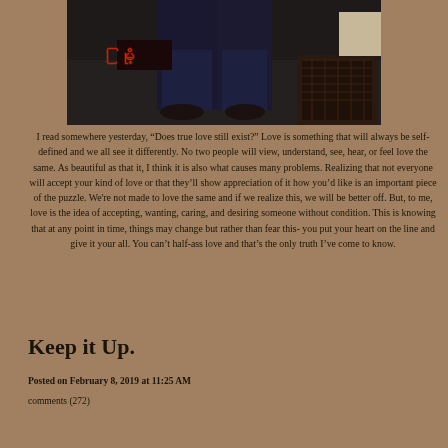[Figure (photo): A photo showing two people standing, cropped to show lower bodies/legs area in dark clothing, with a reddish LED sign visible in the background and wicker furniture. A beige/tan square overlay appears in upper right.]
I read somewhere yesterday, “Does true love still exist?” Love is something that will always be self-defined and we all see it differently. No two people will view, understand, see, hear, or feel love the same. As beautiful as that it, I think it is also what causes many problems. Realizing that not everyone will accept your kind of love or that they’ll show appreciation of it how you’d like is an important piece of the puzzle. We're not made to love the same and if we realize this, we will be better off. But, to me, love is the idea of accepting, wanting, caring, and desiring someone without condition. This is knowing that at any point in time, things may change but rather than fear this- you put your heart on the line and give it your all. You can’t half-ass love and that’s the only truth I’ve come to know.
Keep it Up.
Posted on February 8, 2019 at 11:25 AM
comments (272)